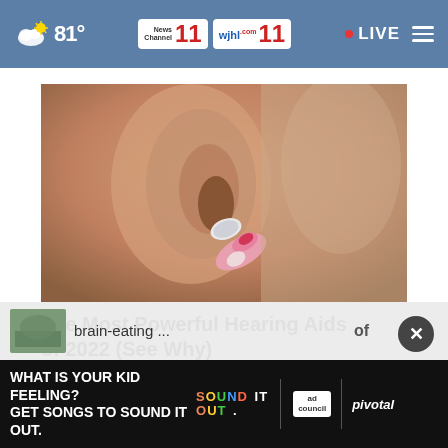81° | News Channel 11 | wjhl.com 11 | LIVE
[Figure (photo): Close-up photo of a person inserting a hearing aid into their ear, with pink fingernails visible]
The Most Powerful Hearing Aids of 2022 (See Why)
Ad by hear.com
MORE STORIES >
[Figure (screenshot): Bottom advertisement banner: 'WHAT IS YOUR KID FEELING? GET SONGS TO SOUND IT OUT.' with Sound It Out logo, Ad Council logo, and Pivotal branding]
brain-eating ...